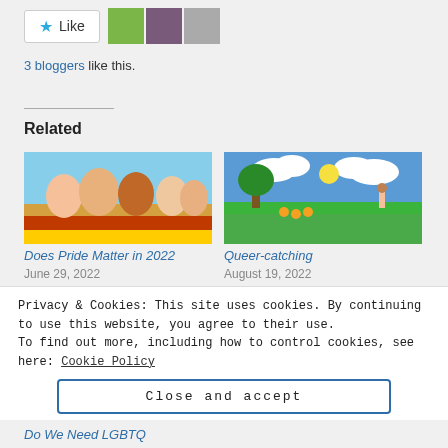[Figure (other): Like button widget with star icon and text 'Like', followed by three blogger avatar thumbnails]
3 bloggers like this.
Related
[Figure (photo): Group of young people smiling, wrapped in rainbow/German flag colors]
Does Pride Matter in 2022
June 29, 2022
[Figure (illustration): Cartoon illustration of sunny outdoor scene with green trees, grass, and figures with rainbow flag]
Queer-catching
August 19, 2022
Privacy & Cookies: This site uses cookies. By continuing to use this website, you agree to their use.
To find out more, including how to control cookies, see here: Cookie Policy
Close and accept
Do We Need LGBTQ